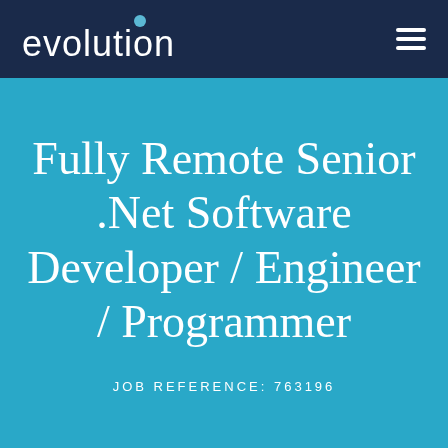[Figure (logo): Evolution recruitment agency logo with white text and teal dot accent on dark navy background, with hamburger menu icon on the right]
Fully Remote Senior .Net Software Developer / Engineer / Programmer
JOB REFERENCE: 763196